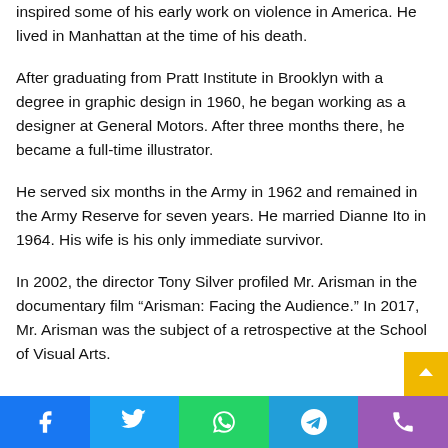inspired some of his early work on violence in America. He lived in Manhattan at the time of his death.
After graduating from Pratt Institute in Brooklyn with a degree in graphic design in 1960, he began working as a designer at General Motors. After three months there, he became a full-time illustrator.
He served six months in the Army in 1962 and remained in the Army Reserve for seven years. He married Dianne Ito in 1964. His wife is his only immediate survivor.
In 2002, the director Tony Silver profiled Mr. Arisman in the documentary film “Arisman: Facing the Audience.” In 2017, Mr. Arisman was the subject of a retrospective at the School of Visual Arts.